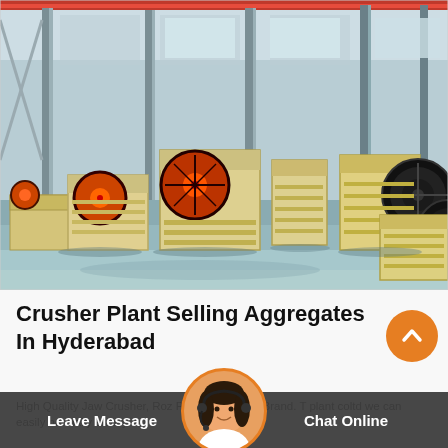[Figure (photo): Factory floor with multiple jaw crusher machines (cream/yellow colored industrial crushing equipment with large flywheels) lined up in a large industrial hall with steel structure columns and overhead crane.]
Crusher Plant Selling Aggregates In Hyderabad
High Quality Jaw Crusher, Roz Plant - 2020 Top Brand. T plant coltd we can easily normally satisfy our
Leave Message  Chat Online